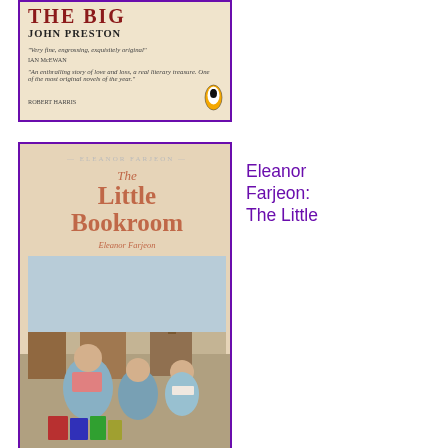[Figure (photo): Partial view of a book cover with red title text, author name John Preston, and review quotes, with a Penguin Books logo at bottom right. Purple border.]
[Figure (illustration): Book cover of 'The Little Bookroom' by Eleanor Farjeon, showing illustrated characters reading books, with pink/coral title text on a light background. Purple border.]
Eleanor Farjeon: The Little Bookroom
[Figure (illustration): Book cover of 'The Little Book of Hygge: The Danish Way to Live Well' by Meik Wiking, featuring Nordic folk art style illustrations in blue and gold/yellow on a dark blue background. Purple border.]
Meik Wiking: The Little Book of Hygge: The Danish Way to Live Well